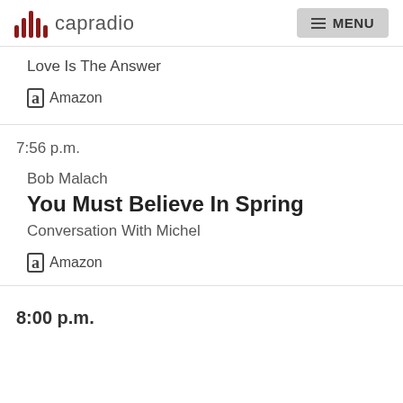capradio MENU
Love Is The Answer
a Amazon
7:56 p.m.
Bob Malach
You Must Believe In Spring
Conversation With Michel
a Amazon
8:00 p.m.